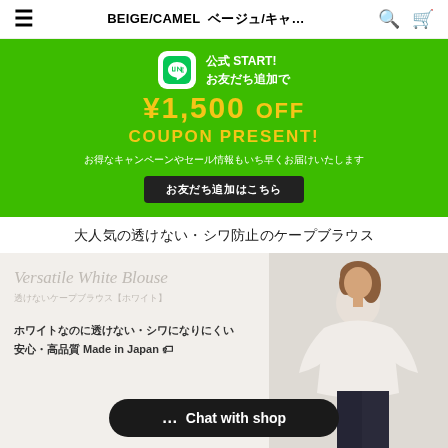≡  BEIGE/CAMEL ベージュ/キャ…  🔍  🛒
[Figure (infographic): LINE official account promotion banner on green background. Shows LINE icon, text '公式 START! お友だち追加で', large gold text '¥1,500 OFF COUPON PRESENT!', subtext 'お得なキャンペーンやセール情報もいち早くお届けいたします', and a dark button 'お友だち追加はこちら']
大人気の透けない・シワ防止のケープブラウス
[Figure (photo): Fashion product page image showing a white cape blouse. Left side shows product name in script 'Versatile White Blouse', Japanese subtitle '透けないケープブラウス【ホワイト】', and text 'ホワイトなのに透けない・シワになりにくい 安心・高品質 Made in Japan 🇯🇵'. Right side shows a woman wearing the white blouse with dark pants. A dark rounded 'Chat with shop' button overlays the bottom.]